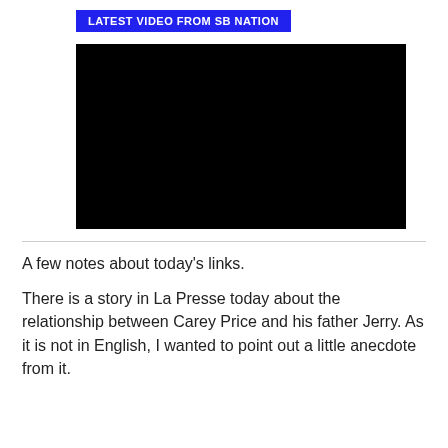LATEST VIDEO FROM SB NATION
[Figure (screenshot): Black video player rectangle]
A few notes about today's links.
There is a story in La Presse today about the relationship between Carey Price and his father Jerry. As it is not in English, I wanted to point out a little anecdote from it.